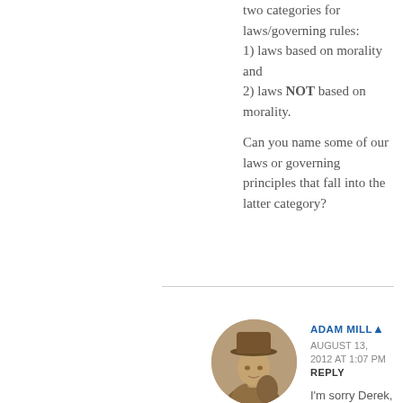two categories for laws/governing rules: 1) laws based on morality and 2) laws NOT based on morality.

Can you name some of our laws or governing principles that fall into the latter category?
[Figure (photo): Circular avatar photo of Adam Miller, a young person wearing a hat, sepia-toned photograph]
ADAM MILLER
AUGUST 13, 2012 AT 1:07 PM
REPLY
I'm sorry Derek,